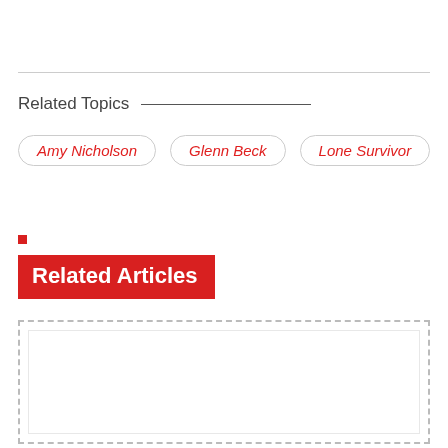Related Topics
Amy Nicholson
Glenn Beck
Lone Survivor
Related Articles
[Figure (other): Empty dashed placeholder box for related articles content]